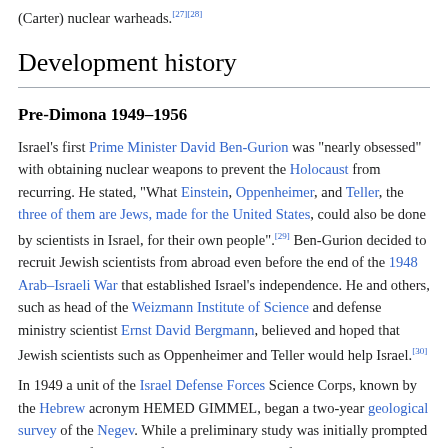(Carter) nuclear warheads.[27][28]
Development history
Pre-Dimona 1949–1956
Israel's first Prime Minister David Ben-Gurion was "nearly obsessed" with obtaining nuclear weapons to prevent the Holocaust from recurring. He stated, "What Einstein, Oppenheimer, and Teller, the three of them are Jews, made for the United States, could also be done by scientists in Israel, for their own people".[29] Ben-Gurion decided to recruit Jewish scientists from abroad even before the end of the 1948 Arab–Israeli War that established Israel's independence. He and others, such as head of the Weizmann Institute of Science and defense ministry scientist Ernst David Bergmann, believed and hoped that Jewish scientists such as Oppenheimer and Teller would help Israel.[30]
In 1949 a unit of the Israel Defense Forces Science Corps, known by the Hebrew acronym HEMED GIMMEL, began a two-year geological survey of the Negev. While a preliminary study was initially prompted by rumors of petroleum fields, one objective of the